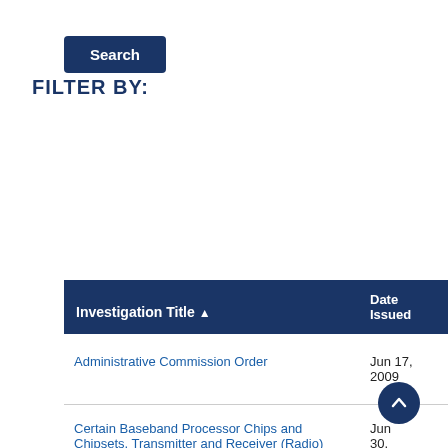[Figure (other): Search button (dark blue rounded rectangle with white text 'Search')]
FILTER BY:
| Investigation Title ▲ | Date Issued |
| --- | --- |
| Administrative Commission Order | Jun 17, 2009 |
| Certain Baseband Processor Chips and Chipsets, Transmitter and Receiver (Radio) Chips, Power Control Chips, and Products Containing Same, Including Cellular Telephone Handsets | Jun 30, 2009 |
| Certain Coaxial Cable Connectors and... | Jun 25, |